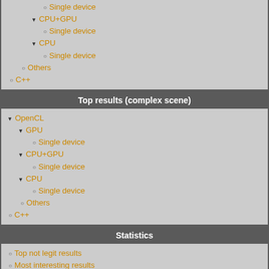Single device
CPU+GPU
Single device
CPU
Single device
Others
C++
Top results (complex scene)
OpenCL
GPU
Single device
CPU+GPU
Single device
CPU
Single device
Others
C++
Statistics
Top not legit results
Most interesting results
Powered by Drupal